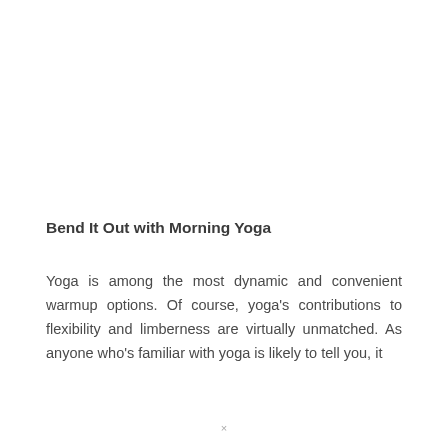Bend It Out with Morning Yoga
Yoga is among the most dynamic and convenient warmup options. Of course, yoga's contributions to flexibility and limberness are virtually unmatched. As anyone who's familiar with yoga is likely to tell you, it
×